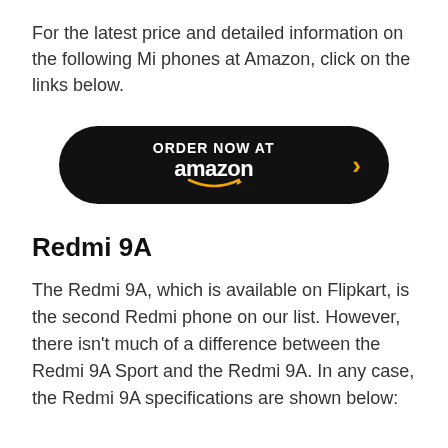For the latest price and detailed information on the following Mi phones at Amazon, click on the links below.
[Figure (other): Black pill-shaped button with 'ORDER NOW AT amazon' text and orange chevron arrow]
Redmi 9A
The Redmi 9A, which is available on Flipkart, is the second Redmi phone on our list. However, there isn't much of a difference between the Redmi 9A Sport and the Redmi 9A. In any case, the Redmi 9A specifications are shown below: